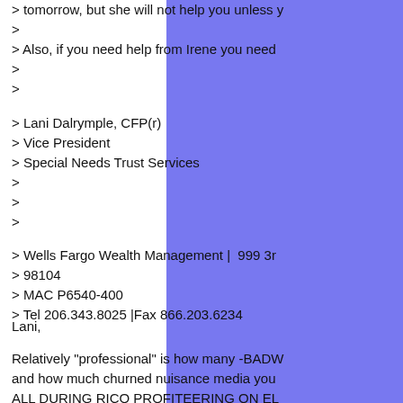> tomorrow, but she will not help you unless y
>
> Also, if you need help from Irene you need
>
>
> Lani Dalrymple, CFP(r)
> Vice President
> Special Needs Trust Services
>
>
>
> Wells Fargo Wealth Management | 999 3r
> 98104
> MAC P6540-400
> Tel 206.343.8025 | Fax 866.203.6234
Lani,
Relatively "professional" is how many -BADW and how much churned nuisance media you ALL DURING RICO PROFITEERING ON EL REVIEW.
Trump sure is no help, is he.
"Professional" would be the studied abuse an close.